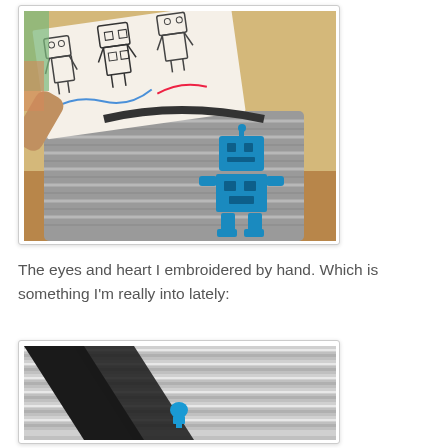[Figure (photo): A child wearing a striped robot t-shirt with a blue robot appliqué, holding up a piece of paper with hand-drawn robot sketches in front of their face. Background shows a colorful, cluttered room.]
The eyes and heart I embroidered by hand. Which is something I'm really into lately:
[Figure (photo): Close-up of a grey and white striped shirt with black cross-strap detail and a small blue embroidered heart or mushroom shape near the bottom.]